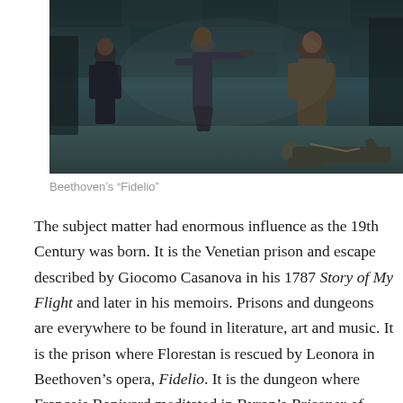[Figure (photo): A theatrical stage production scene showing performers in a dungeon setting. One figure in the center points a gun, facing figures on the left and right, with another figure lying on the ground to the right. Dark stone-wall backdrop.]
Beethoven's “Fidelio”
The subject matter had enormous influence as the 19th Century was born. It is the Venetian prison and escape described by Giocomo Casanova in his 1787 Story of My Flight and later in his memoirs. Prisons and dungeons are everywhere to be found in literature, art and music. It is the prison where Florestan is rescued by Leonora in Beethoven’s opera, Fidelio. It is the dungeon where Francois Bonivard meditated in Byron’s Prisoner of